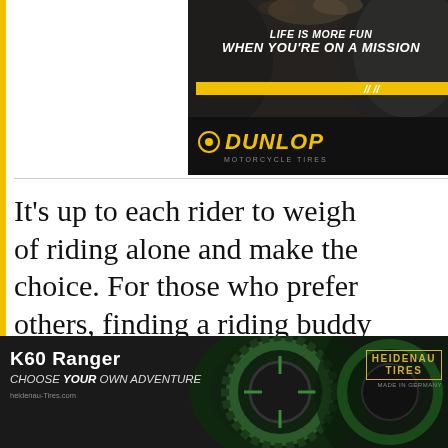[Figure (advertisement): Dunlop Motorcycle Tires advertisement with motorcycle tire image, text 'LIFE IS MORE FUN WHEN YOU'RE ON A MISSION', yellow stripe with slashes, and Dunlop logo on black background]
It's up to each rider to weigh of riding alone and make the choice. For those who prefer others, finding a riding buddy
[Figure (advertisement): Heidenau Tires advertisement: K60 Ranger, CHOOSE YOUR OWN ADVENTURE, with motorcycle tire image and Heidenau Tires logo]